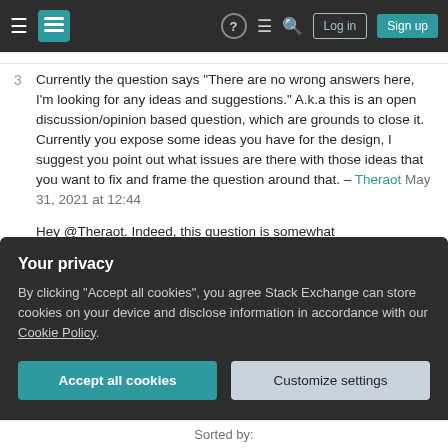Stack Exchange navigation header with hamburger menu, logo, help, chat, search icons, Log in and Sign up buttons
3  Currently the question says "There are no wrong answers here, I'm looking for any ideas and suggestions." A.k.a this is an open discussion/opinion based question, which are grounds to close it. Currently you expose some ideas you have for the design, I suggest you point out what issues are there with those ideas that you want to fix and frame the question around that. – Theraot May 31, 2021 at 12:44
Hey @Theraot. Indeed, this question is somewhat discussion/opinion-based, but that's because of its nature. I've edited the question to point out why my
Your privacy

By clicking "Accept all cookies", you agree Stack Exchange can store cookies on your device and disclose information in accordance with our Cookie Policy.

Accept all cookies   Customize settings
Sorted by: